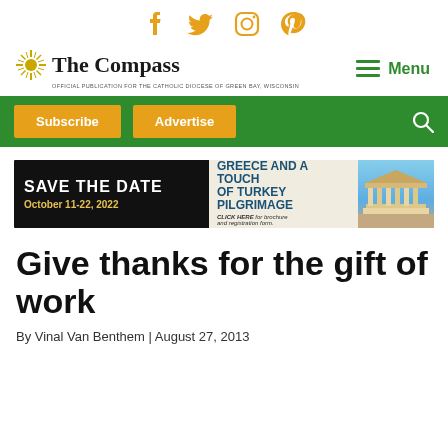Social icons: Facebook, Twitter, Instagram, Pinterest
[Figure (logo): The Compass newspaper logo with star sunburst icon. Subtitle: Official Publication for the Catholic Diocese of Green Bay, Wisconsin]
Menu
[Figure (infographic): Green navigation bar with Subscribe and Advertise buttons and a search icon]
[Figure (infographic): Advertisement banner: Save the Date October 11-22, 2022 - Experience a 12-day pilgrimage to Greece and a Touch of Turkey Pilgrimage. Click HERE for brochure and registration form. Presented by The Compass. Image of Parthenon on right.]
Give thanks for the gift of work
By Vinal Van Benthem | August 27, 2013